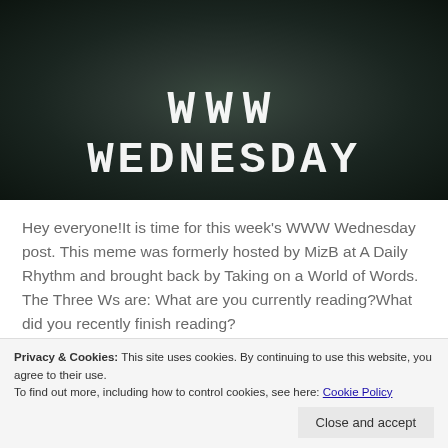[Figure (illustration): Dark textured background with white serif/monospace text showing 'WWW' on top line and 'WEDNESDAY' on second line, styled like a book/blog header graphic]
Hey everyone!It is time for this week's WWW Wednesday post. This meme was formerly hosted by MizB at A Daily Rhythm and brought back by Taking on a World of Words. The Three Ws are: What are you currently reading?What did you recently finish reading? What do you think you'll read next? Come the Reading...
Privacy & Cookies: This site uses cookies. By continuing to use this website, you agree to their use.
To find out more, including how to control cookies, see here: Cookie Policy